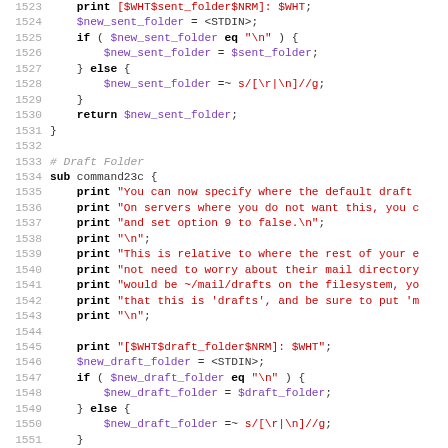[Figure (screenshot): Source code listing in Perl, lines 1523-1555, showing subroutines for setting sent folder and draft folder, with syntax highlighting: keywords in bold black, strings in red, variables in purple, comments in gray italic.]